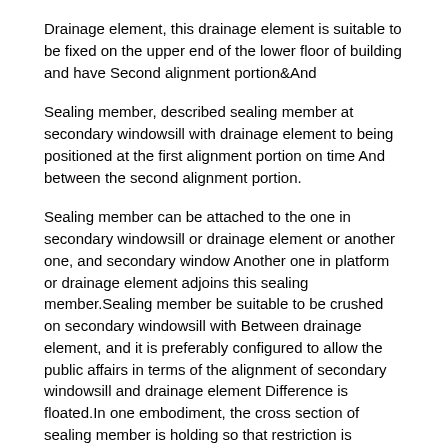Drainage element, this drainage element is suitable to be fixed on the upper end of the lower floor of building and have Second alignment portion&And
Sealing member, described sealing member at secondary windowsill with drainage element to being positioned at the first alignment portion on time And between the second alignment portion.
Sealing member can be attached to the one in secondary windowsill or drainage element or another one, and secondary window Another one in platform or drainage element adjoins this sealing member.Sealing member be suitable to be crushed on secondary windowsill with Between drainage element, and it is preferably configured to allow the public affairs in terms of the alignment of secondary windowsill and drainage element Difference is floated.In one embodiment, the cross section of sealing member is holding so that restriction is internal of closing Long-pending.Such as, sealing member can be ball seal.Can be in the internal capacity of sealing member Portion arranges interior wall construction to be provided the intensity of sealing member and controlled shrinkage